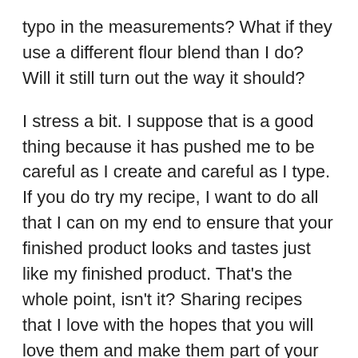typo in the measurements?  What if they use a different flour blend than I do?  Will it still turn out the way it should?
I stress a bit.  I suppose that is a good thing because it has pushed me to be careful as I create and careful as I type.  If you do try my recipe, I want to do all that I can on my end to ensure that your finished product looks and tastes just like my finished product.  That's the whole point, isn't it?  Sharing recipes that I love with the hopes that you will love them and make them part of your home.
Following along with my friend's attempt to create the best lemon cake ever, I was inspired to create a gluten free lemon cake recipe of my own.  I used the recipe mentioned in her blog as a jumping off point, but as usual, I made significant changes.